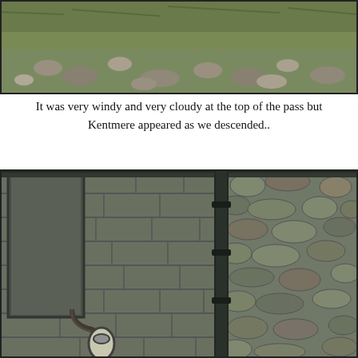[Figure (photo): Aerial/elevated view of a rocky path or stream bed with green grass and stones, viewed from above]
It was very windy and very cloudy at the top of the pass but Kentmere appeared as we descended..
[Figure (photo): Close-up of a stone wall building exterior with a black drainpipe running vertically and a wall-mounted lamp fixture, stone masonry visible in detail]